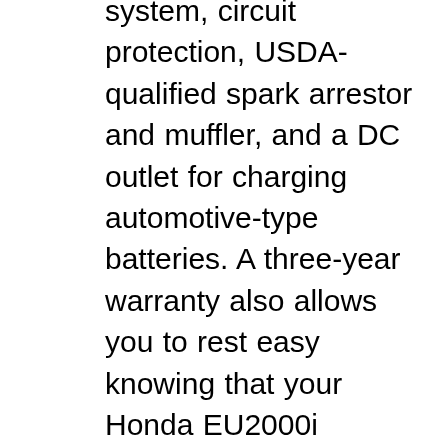system, circuit protection, USDA-qualified spark arrestor and muffler, and a DC outlet for charging automotive-type batteries. A three-year warranty also allows you to rest easy knowing that your Honda EU2000i generator will cover you over years of events and unexpected outages. Manuals Genuine parts . Honda parts Owners Engine Room Brochure Owners. Owner Manuals. If you've lost your manual, feel free to download a new one below. Owner manuals. It's important to read through your manual before you use your Honda Industrial product for the first time. It covers the basic features and functions and describes maintenance procedures for keeping it